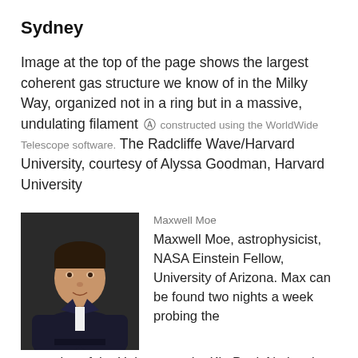Sydney
Image at the top of the page shows the largest coherent gas structure we know of in the Milky Way, organized not in a ring but in a massive, undulating filament [camera icon] constructed using the WorldWide Telescope software. The Radcliffe Wave/Harvard University, courtesy of Alyssa Goodman, Harvard University
Maxwell Moe
Maxwell Moe, astrophysicist, NASA Einstein Fellow, University of Arizona. Max can be found two nights a week probing the mysteries of the Universe at the Kitt Peak National Observatory. Max received his Ph.D
[Figure (photo): Headshot photo of Maxwell Moe, a man in a dark suit and tie, standing against a dark background]